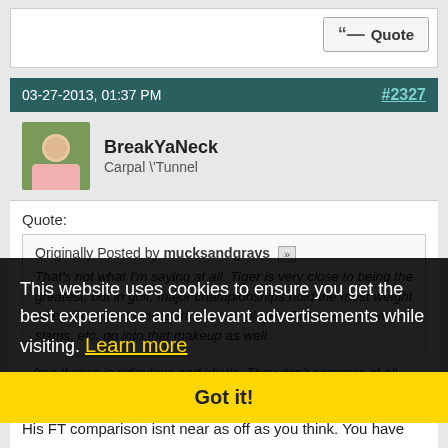Quote
03-27-2013, 01:37 PM   #2327
BreakYaNeck
Carpal \'Tunnel
Quote:
Originally Posted by mucksandgravs
That's not what I'm saying at all. Tiger is very close to being the greatest, but in golf, major championships hold the most weight when it comes to measuring a tour player. Observe: total wins, slams, etc. go into that makeup as well.
This website uses cookies to ensure you get the best experience and relevant advertisements while visiting. Learn more
Got it!
His FT comparison isnt near as off as you think. You have